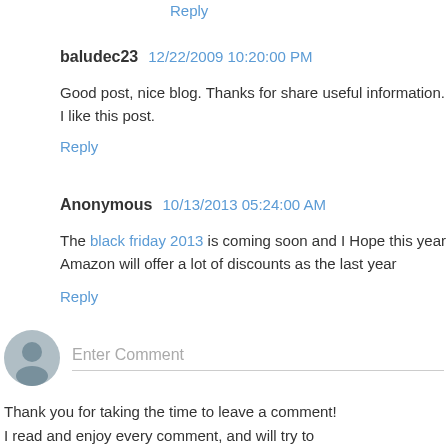Reply
baludec23  12/22/2009 10:20:00 PM
Good post, nice blog. Thanks for share useful information. I like this post.
Reply
Anonymous  10/13/2013 05:24:00 AM
The black friday 2013 is coming soon and I Hope this year Amazon will offer a lot of discounts as the last year
Reply
Enter Comment
Thank you for taking the time to leave a comment! I read and enjoy every comment, and will try to reply if time permits. If you have a blog, please